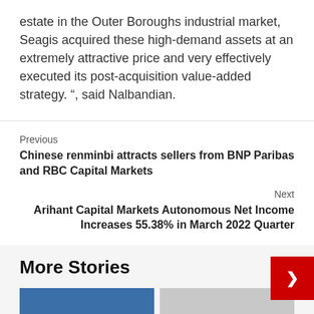estate in the Outer Boroughs industrial market, Seagis acquired these high-demand assets at an extremely attractive price and very effectively executed its post-acquisition value-added strategy. “, said Nalbandian.
Previous
Chinese renminbi attracts sellers from BNP Paribas and RBC Capital Markets
Next
Arihant Capital Markets Autonomous Net Income Increases 55.38% in March 2022 Quarter
More Stories